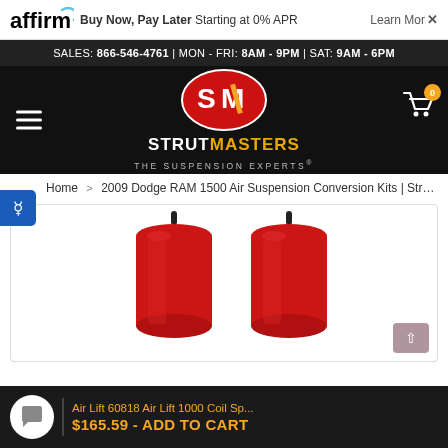[Figure (logo): Affirm logo - buy now pay later banner with Learn More link]
SALES: 866-546-4761 | MON - FRI: 8AM - 9PM | SAT: 9AM - 6PM
[Figure (logo): StrutMasters - The Suspension Experts logo with SM oval emblem on dark background]
Home > 2009 Dodge RAM 1500 Air Suspension Conversion Kits | Struts |
[Figure (photo): Two red cylindrical Air Lift 60818 Air Lift 1000 Coil Spring air bags with black fittings on top]
Air Lift 60818 Air Lift 1000 Coil Sp...
$165.59 - ADD TO CART